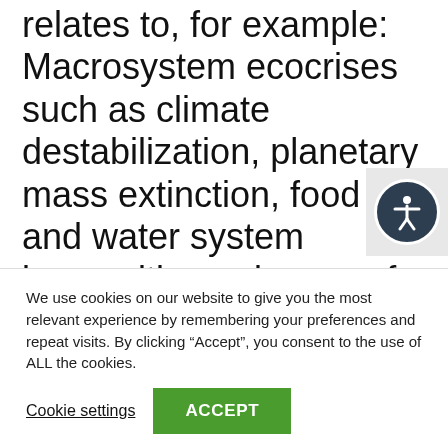relates to, for example: Macrosystem ecocrises such as climate destabilization, planetary mass extinction, food and water system insecurities or issues of social/environmental toxicology; Indigenous Traditional Ecological Knowledge; place-based and other contemporary frameworks for environmental and ecological literacy; globalization and the normalization of a
We use cookies on our website to give you the most relevant experience by remembering your preferences and repeat visits. By clicking “Accept”, you consent to the use of ALL the cookies.